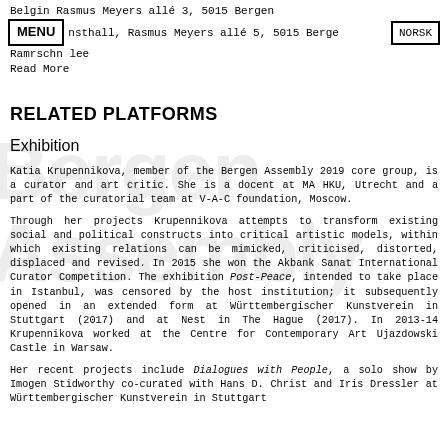Belgin Rasmus Meyers allé 3, 5015 Bergen
MENU nsthall, Rasmus Meyers allé 5, 5015 Bergen NORSK
Ramrschn lee
Read More
RELATED PLATFORMS
Exhibition
Katia Krupennikova, member of the Bergen Assembly 2019 core group, is a curator and art critic. She is a docent at MA HKU, Utrecht and a part of the curatorial team at V-A-C foundation, Moscow.
Through her projects Krupennikova attempts to transform existing social and political constructs into critical artistic models, within which existing relations can be mimicked, criticised, distorted, displaced and revised. In 2015 she won the Akbank Sanat International Curator Competition. The exhibition Post-Peace, intended to take place in Istanbul, was censored by the host institution; it subsequently opened in an extended form at Württembergischer Kunstverein in Stuttgart (2017) and at Nest in The Hague (2017). In 2013-14 Krupennikova worked at the Centre for Contemporary Art Ujazdowski Castle in Warsaw.
Her recent projects include Dialogues with People, a solo show by Imogen Stidworthy co-curated with Hans D. Christ and Iris Dressler at Württembergischer Kunstverein in Stuttgart